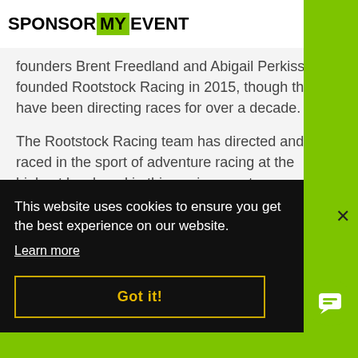SPONSOR MY EVENT
founders Brent Freedland and Abigail Perkiss founded Rootstock Racing in 2015, though they have been directing races for over a decade.
The Rootstock Racing team has directed and raced in the sport of adventure racing at the highest level, and in this environment…
This website uses cookies to ensure you get the best experience on our website.
Learn more
Got it!